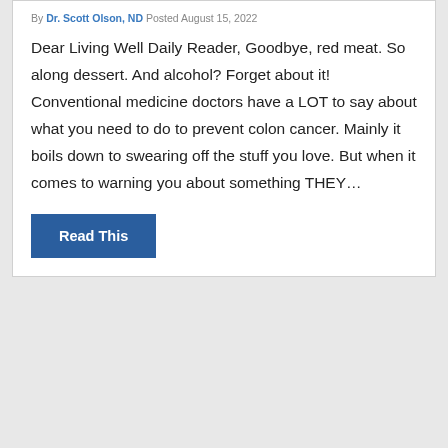By Dr. Scott Olson, ND Posted August 15, 2022
Dear Living Well Daily Reader, Goodbye, red meat. So along dessert. And alcohol? Forget about it! Conventional medicine doctors have a LOT to say about what you need to do to prevent colon cancer. Mainly it boils down to swearing off the stuff you love. But when it comes to warning you about something THEY…
Read This